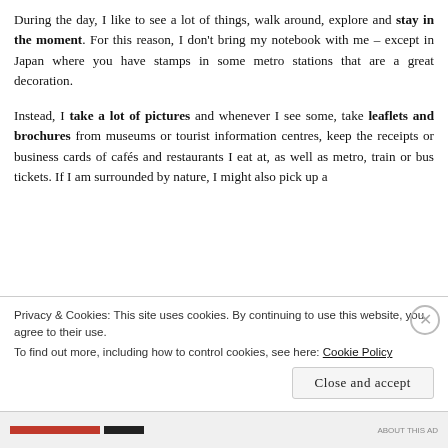During the day, I like to see a lot of things, walk around, explore and stay in the moment. For this reason, I don't bring my notebook with me – except in Japan where you have stamps in some metro stations that are a great decoration.
Instead, I take a lot of pictures and whenever I see some, take leaflets and brochures from museums or tourist information centres, keep the receipts or business cards of cafés and restaurants I eat at, as well as metro, train or bus tickets. If I am surrounded by nature, I might also pick up a c...
Privacy & Cookies: This site uses cookies. By continuing to use this website, you agree to their use. To find out more, including how to control cookies, see here: Cookie Policy